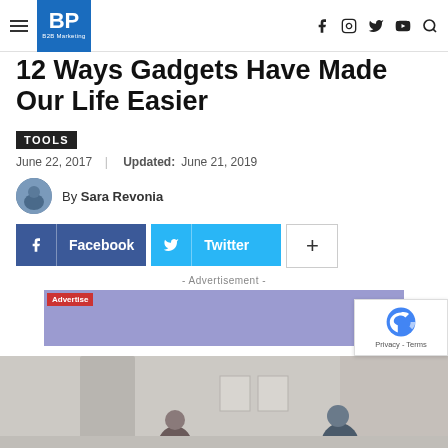BP B2B Marketing
12 Ways Gadgets Have Made Our Life Easier
TOOLS
June 22, 2017 | Updated: June 21, 2019
By Sara Revonia
Facebook  Twitter  +
- Advertisement -
[Figure (other): Purple/lavender advertisement banner placeholder with red 'Advertise' badge]
[Figure (photo): Bottom portion of article hero image showing people in a modern office/room setting]